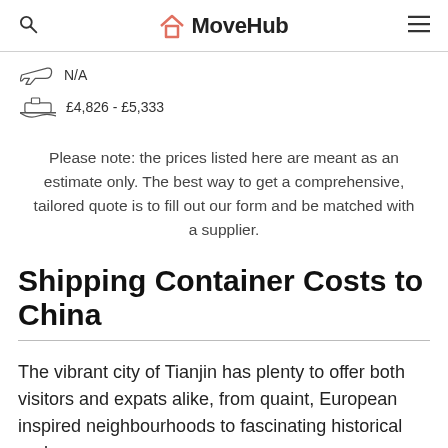MoveHub
N/A
£4,826 - £5,333
Please note: the prices listed here are meant as an estimate only. The best way to get a comprehensive, tailored quote is to fill out our form and be matched with a supplier.
Shipping Container Costs to China
The vibrant city of Tianjin has plenty to offer both visitors and expats alike, from quaint, European inspired neighbourhoods to fascinating historical and